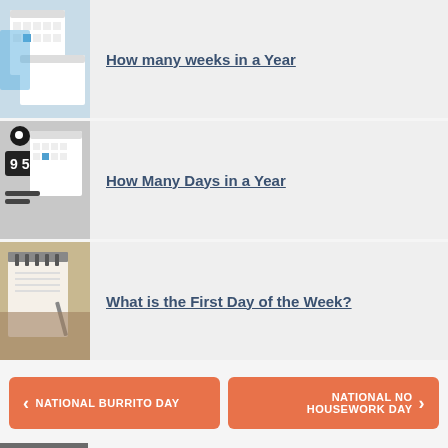[Figure (photo): Calendar and notebooks photo]
How many weeks in a Year
[Figure (photo): Clock showing 9:58, glasses, and calendar photo]
How Many Days in a Year
[Figure (photo): Spiral notebook and pen on wooden desk photo]
What is the First Day of the Week?
< NATIONAL BURRITO DAY
NATIONAL NO HOUSEWORK DAY >
© 2011 – 2022  7Graus – Calendarr.com
Online Calendars with Holidays and Celebrations..